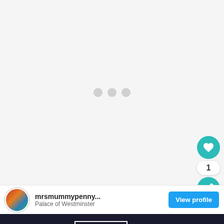[Figure (screenshot): Light gray content area with three loading indicator dots centered]
[Figure (other): Teal circular heart/like FAB button with heart icon, count of 1, and share FAB button below]
mrsmummypenny...
Palace of Westminster
View profile
SHE CAN STEM
Learn More